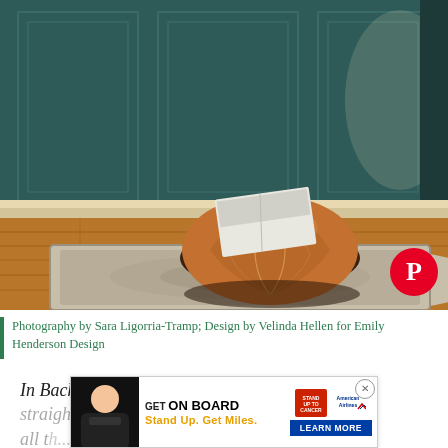[Figure (photo): Interior design photo showing a leather Moroccan pouf/ottoman with a book on top, sitting on a patterned area rug on hardwood floors, with dark teal paneled wainscoting on the wall behind.]
Photography by Sara Ligorria-Tramp; Design by Velinda Hellen for Emily Henderson Design
In Back to Basics, we're providing you with the straight-forward advice you need to tackle all the...